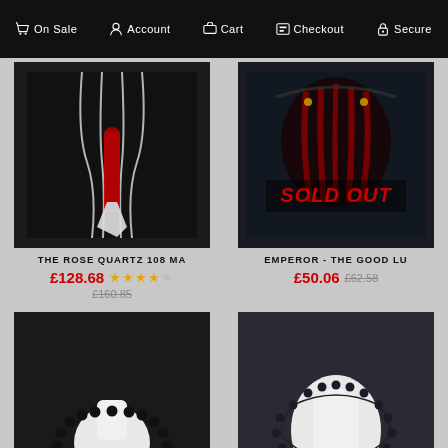On Sale | Account | Cart | Checkout | Secure
[Figure (photo): Rose quartz mala necklace with red tassel on dark background]
THE ROSE QUARTZ 108 MA
£128.68 ★★★★☆ £160.85
[Figure (photo): Emperor mala necklace with tassel on dark background, SOLD OUT badge]
EMPEROR - THE GOOD LU
£50.06 £62.58
[Figure (photo): Erebus Chakra Balancing black bead necklace on white bust]
THE EREBUS CHAKRA BALA
£96.49 £120.61
[Figure (photo): Apatite 108 Mala Tassel necklace on white bust with blue tassel]
THE APATITE 108 MALA TAS
£128.68 ★★★★☆ £160.85